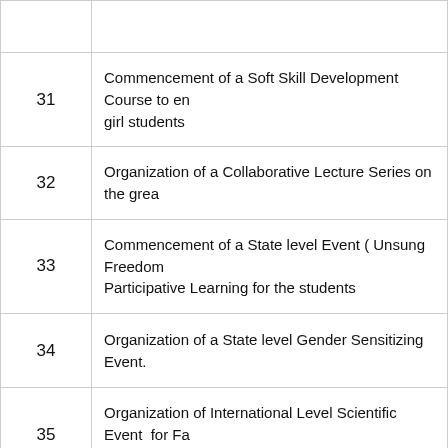| No. | Description |
| --- | --- |
|  |  |
| 31 | Commencement of a Soft Skill Development Course to en girl students |
| 32 | Organization of a Collaborative Lecture Series on the grea |
| 33 | Commencement of a State level Event ( Unsung Freedom Participative Learning for the students |
| 34 | Organization of a State level Gender Sensitizing Event. |
| 35 | Organization of International Level Scientific Event  for Fa Science. |